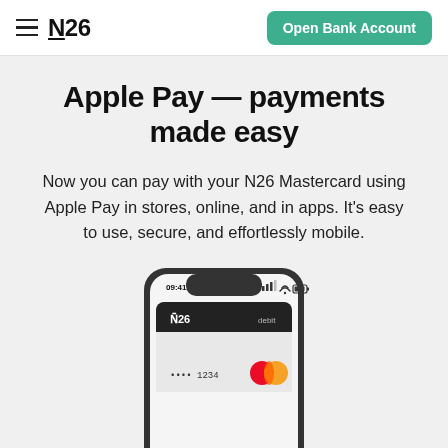N26 — Open Bank Account
Apple Pay — payments made easy
Now you can pay with your N26 Mastercard using Apple Pay in stores, online, and in apps. It's easy to use, secure, and effortlessly mobile.
[Figure (screenshot): iPhone X showing Apple Wallet with N26 Mastercard debit card displaying card number ending 1234 and Mastercard logo, screen showing time 09:41]